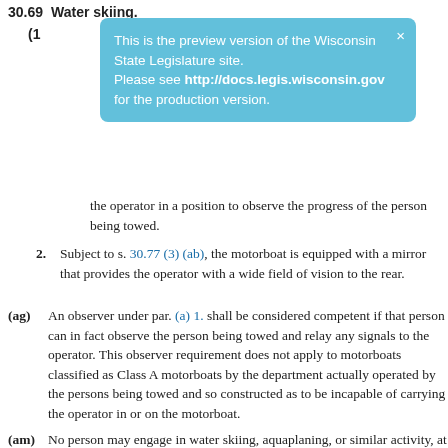30.69   Water skiing.
[Figure (other): Preview tooltip banner: 'This is the preview version of the Wisconsin State Legislature site. Please see http://docs.legis.wisconsin.gov for the production version.' with close X button.]
the operator in a position to observe the progress of the person being towed.
2. Subject to s. 30.77 (3) (ab), the motorboat is equipped with a mirror that provides the operator with a wide field of vision to the rear.
(ag) An observer under par. (a) 1. shall be considered competent if that person can in fact observe the person being towed and relay any signals to the operator. This observer requirement does not apply to motorboats classified as Class A motorboats by the department actually operated by the persons being towed and so constructed as to be incapable of carrying the operator in or on the motorboat.
(am) No person may engage in water skiing, aquaplaning, or similar activity, at any time from sunset to sunrise. This restriction of the hours of water skiing does not prevent restrictions of the hours of water skiing between sunrise and sunset by local ordinances enacted pursuant to s. 30.77 (3).
(b) Paragraphs (a), (ag), and (am) do not apply to duly authorized water ski tournaments, competitions, exhibitions,